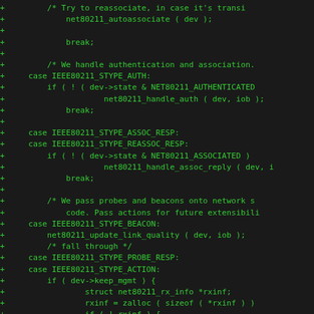[Figure (screenshot): Source code diff showing C code for IEEE 802.11 wireless network stack, with added lines (marked with +) in green monospace font on dark background. Code handles authentication, association, beacon, probe response, and action frame subtypes.]